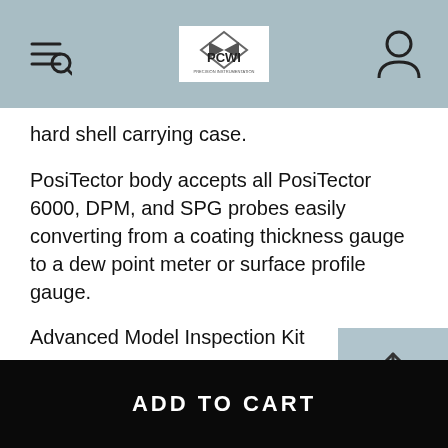PCWI
hard shell carrying case.
PosiTector body accepts all PosiTector 6000, DPM, and SPG probes easily converting from a coating thickness gauge to a dew point meter or surface profile gauge.
Advanced Model Inspection Kit
Features include:
- Contains the PosiTector Advanced gauge body and 3 interchangeable probes - coating thickness, environmental and surface profile.
ADD TO CART